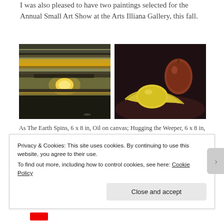I was also pleased to have two paintings selected for the Annual Small Art Show at the Arts Illiana Gallery, this fall.
[Figure (photo): Two paintings side by side: left is a sunset landscape oil painting 'As The Earth Spins', right is a still life oil painting 'Hugging the Weeper' with fruits (lemon, pear, banana) on dark background.]
As The Earth Spins, 6 x 8 in, Oil on canvas; Hugging the Weeper, 6 x 8 in, oil on canvas
The works submitted for this Show must be less than 12 in in any dimension. It is a varied and interesting Show.
Privacy & Cookies: This site uses cookies. By continuing to use this website, you agree to their use. To find out more, including how to control cookies, see here: Cookie Policy